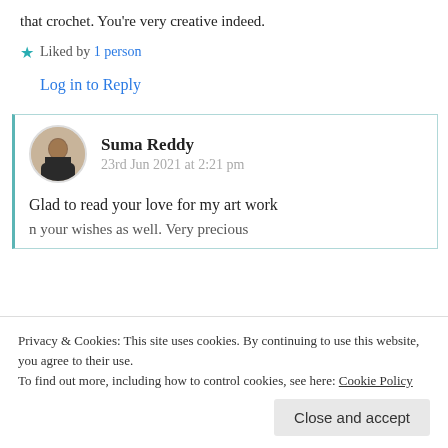that crochet. You're very creative indeed.
★ Liked by 1 person
Log in to Reply
Suma Reddy
23rd Jun 2021 at 2:21 pm
Glad to read your love for my art work
n your wishes as well. Very precious
Privacy & Cookies: This site uses cookies. By continuing to use this website, you agree to their use.
To find out more, including how to control cookies, see here: Cookie Policy
Close and accept
Log in to Reply